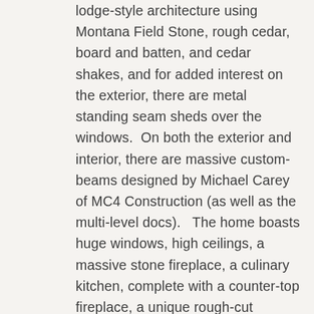lodge-style architecture using Montana Field Stone, rough cedar, board and batten, and cedar shakes, and for added interest on the exterior, there are metal standing seam sheds over the windows.  On both the exterior and interior, there are massive custom-beams designed by Michael Carey of MC4 Construction (as well as the multi-level docs).   The home boasts huge windows, high ceilings, a massive stone fireplace, a culinary kitchen, complete with a counter-top fireplace, a unique rough-cut flagstone staircase, with a cat-walk upstairs, open to the living room and entry hall.  The home displays an eclectic mix of old and new furniture with large comfortable seating and family heirlooms.  Every room in the house reflects the perfect lake-view and is located lake front on the most beautiful open-water area on Lake Granbury (between the 2 bridges).   There is a